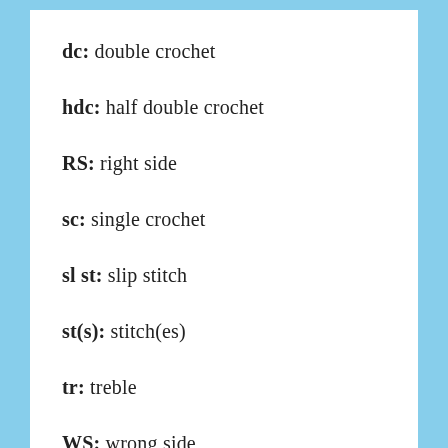dc: double crochet
hdc: half double crochet
RS: right side
sc: single crochet
sl st: slip stitch
st(s): stitch(es)
tr: treble
WS: wrong side